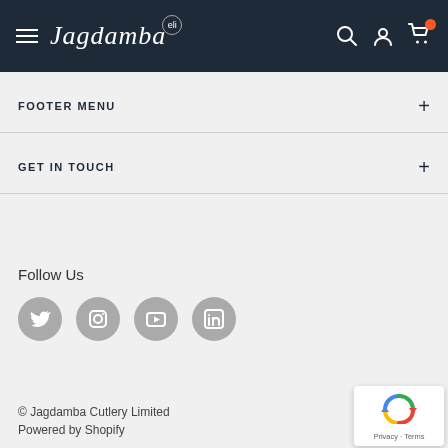Jagdamba (eli) — navigation header with hamburger menu, logo, search, account, cart icons
FOOTER MENU
GET IN TOUCH
Follow Us
[Figure (illustration): Social media icons: Twitter, Instagram, YouTube, LinkedIn — grey circles]
© Jagdamba Cutlery Limited
Powered by Shopify
[Figure (other): reCAPTCHA widget with Privacy and Terms links]